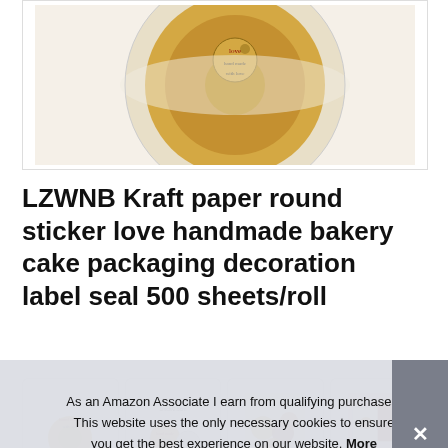[Figure (photo): Product photo showing a roll of LZWNB Kraft paper round stickers with 'love' and handmade bakery designs on a white background]
LZWNB Kraft paper round sticker love handmade bakery cake packaging decoration label seal 500 sheets/roll
[Figure (photo): Four thumbnail images showing the sticker roll, size comparison, stickers on baked goods, and stickers on envelopes]
LZW
stickers to reward efforts and good behavior according to
As an Amazon Associate I earn from qualifying purchases. This website uses the only necessary cookies to ensure you get the best experience on our website. More information